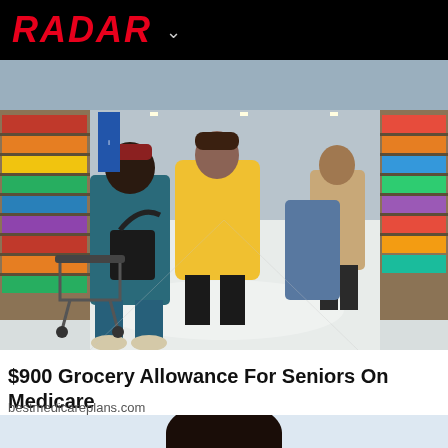RADAR
[Figure (photo): People shopping in a grocery store aisle, pushing carts. Several shoppers visible from behind, one in a yellow coat, one in blue jeans, store shelves on the sides.]
$900 Grocery Allowance For Seniors On Medicare
bestmedicareplans.com
[Figure (photo): Partial view of a person's face/head from a second advertisement, showing dark hair against a light blue background.]